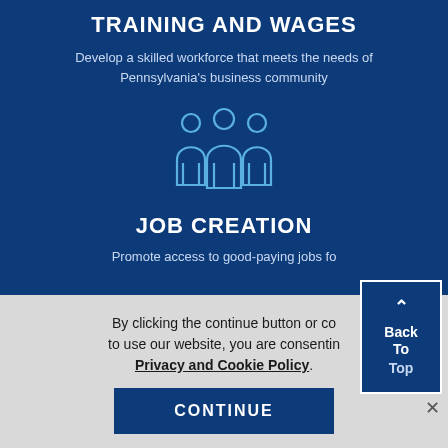TRAINING AND WAGES
Develop a skilled workforce that meets the needs of Pennsylvania's business community
[Figure (illustration): Icon of three people (workforce group) in light blue outline style on dark blue background]
JOB CREATION
Promote access to good-paying jobs fo...
By clicking the continue button or co... to use our website, you are consentin...
Privacy and Cookie Policy.
CONTINUE
Back To Top